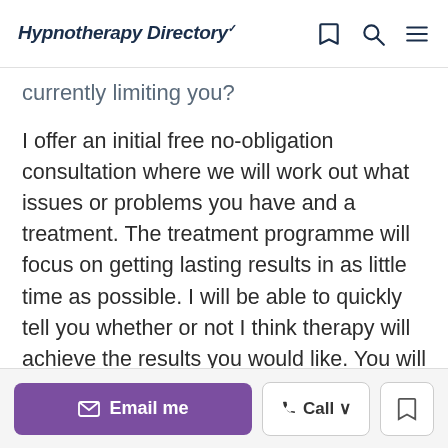Hypnotherapy Directory
currently limiting you?
I offer an initial free no-obligation consultation where we will work out what issues or problems you have and a treatment. The treatment programme will focus on getting lasting results in as little time as possible. I will be able to quickly tell you whether or not I think therapy will achieve the results you would like. You will leave the consultation knowing how many treatments will be needed, the total cost and
Email me | Call | Bookmark